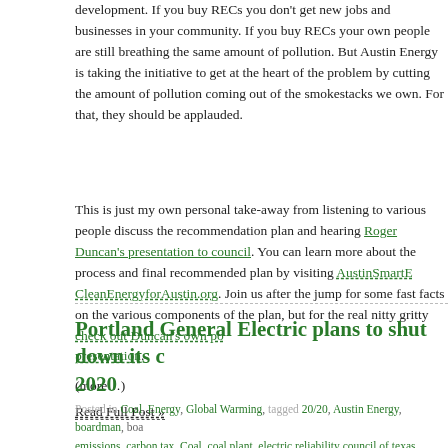development.  If you buy RECs you don't get new jobs and businesses in your community.  If you buy RECs your own people are still breathing the same amount of pollution.  But Austin Energy is taking the initiative to get at the heart of the problem by cutting the amount of pollution coming out of the smokestacks we own.  For that, they should be applauded.
This is just my own personal take-away from listening to various people discuss the recommendation plan and hearing Roger Duncan's presentation to council. You can learn more about the process and final recommended plan by visiting AustinSmartEnergy.com and CleanEnergyforAustin.org. Join us after the jump for some fast facts on the various components of the plan, but for the real nitty gritty check out Duncan's own powerpoint presentation.
(more...)
Read Full Post »
Portland General Electric plans to shut down its coal plant by 2020
Posted in Coal, Energy, Global Warming, tagged 20/20, Austin Energy, boardman, boardman emissions, carbon tax, Coal, coal plant, electric reliability council of texas, fayette power, global warming legislation, haze, lower colorado river authority, PGE, pollution, portland gene...